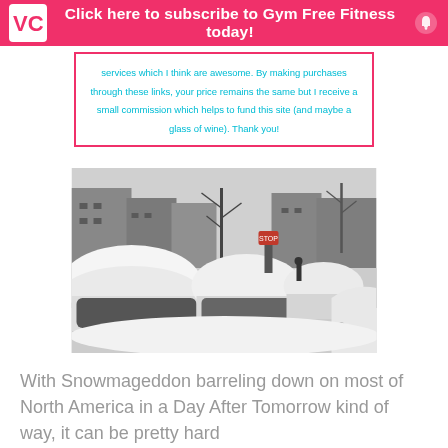Click here to subscribe to Gym Free Fitness today!
services which I think are awesome. By making purchases through these links, your price remains the same but I receive a small commission which helps to fund this site (and maybe a glass of wine). Thank you!
[Figure (photo): Black and white photo of a snowy city street with cars buried under heavy snow, a person walking in the background, and buildings and bare trees visible.]
With Snowmageddon barreling down on most of North America in a Day After Tomorrow kind of way, it can be pretty hard